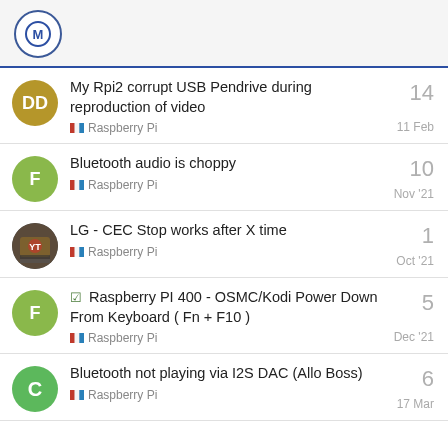OSMC Forum Logo
My Rpi2 corrupt USB Pendrive during reproduction of video | Raspberry Pi | 14 | 11 Feb
Bluetooth audio is choppy | Raspberry Pi | 10 | Nov '21
LG - CEC Stop works after X time | Raspberry Pi | 1 | Oct '21
Raspberry PI 400 - OSMC/Kodi Power Down From Keyboard ( Fn + F10 ) | Raspberry Pi | 5 | Dec '21
Bluetooth not playing via I2S DAC (Allo Boss) | Raspberry Pi | 6 | 17 Mar